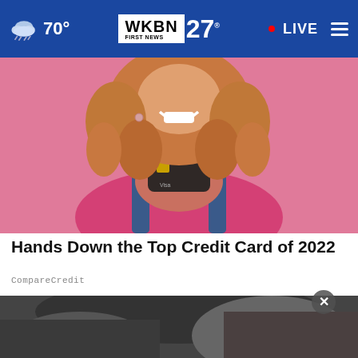70° WKBN FIRST NEWS 27 • LIVE
[Figure (photo): Smiling woman with curly hair holding a black credit card against a pink background, wearing denim overalls and a pink top]
Hands Down the Top Credit Card of 2022
CompareCredit
[Figure (photo): Partially visible second article image showing a dark-toned scene]
[Figure (other): Advertisement banner: Ashburn OPEN 7:30AM-6PM, 43781 Parkhurst Plaza, Ashburn - Tire Auto service ad]